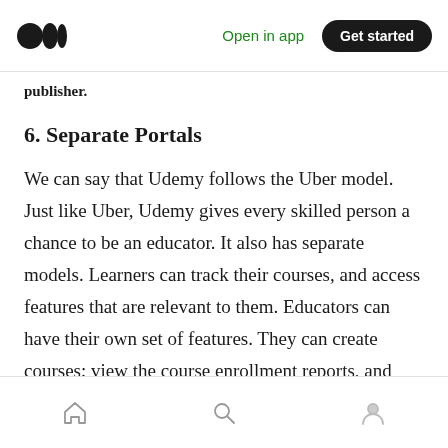Open in app | Get started
publisher.
6. Separate Portals
We can say that Udemy follows the Uber model. Just like Uber, Udemy gives every skilled person a chance to be an educator. It also has separate models. Learners can track their courses, and access features that are relevant to them. Educators can have their own set of features. They can create courses; view the course enrollment reports, and more. As an admin, you can manage the entire business from the
Home | Search | Profile